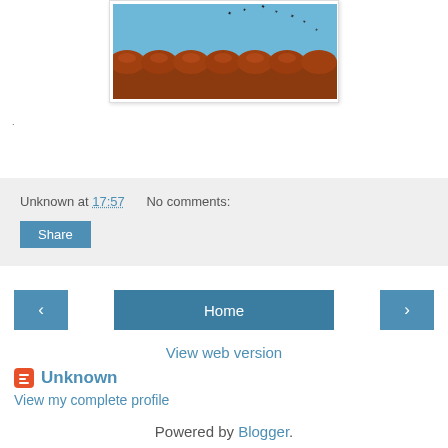[Figure (photo): Photo showing terracotta roof tiles against a blue sky with birds flying in the background]
.
Unknown at 17:57   No comments:
Share
‹   Home   ›
View web version
Unknown
View my complete profile
Powered by Blogger.